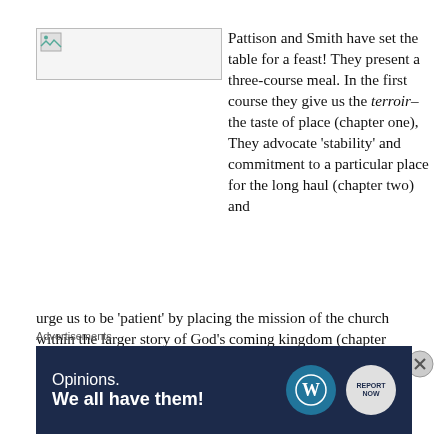[Figure (photo): Broken image placeholder icon in top-left area]
Pattison and Smith have set the table for a feast! They present a three-course meal. In the first course they give us the terroir–the taste of place (chapter one), They advocate 'stability' and commitment to a particular place for the long haul (chapter two) and urge us to be 'patient' by placing the mission of the church within the larger story of God's coming kingdom (chapter three). They name this first course 'Ethics' and by this they do not mean
Advertisements
[Figure (other): Advertisement banner: dark navy background with text 'Opinions. We all have them!' and WordPress and Report Now logos]